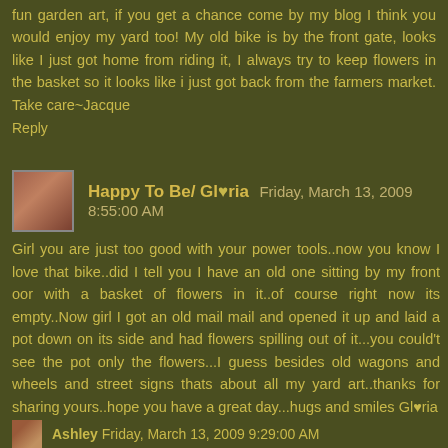fun garden art, if you get a chance come by my blog I think you would enjoy my yard too! My old bike is by the front gate, looks like I just got home from riding it, I always try to keep flowers in the basket so it looks like i just got back from the farmers market. Take care~Jacque
Reply
Happy To Be/ Gloria  Friday, March 13, 2009 8:55:00 AM
Girl you are just too good with your power tools..now you know I love that bike..did I tell you I have an old one sitting by my front oor with a basket of flowers in it..of course right now its empty..Now girl I got an old mail mail and opened it up and laid a pot down on its side and had flowers spilling out of it...you could't see the pot only the flowers...I guess besides old wagons and wheels and street signs thats about all my yard art..thanks for sharing yours..hope you have a great day...hugs and smiles Gloria
Reply
Ashley  Friday, March 13, 2009 9:29:00 AM